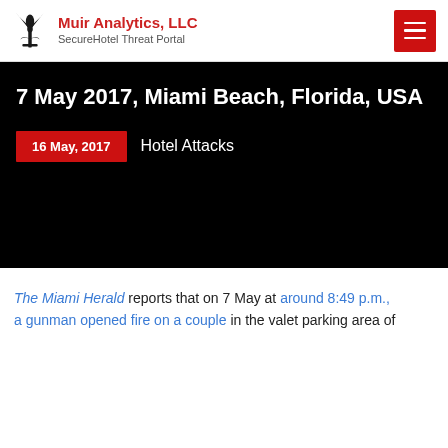Muir Analytics, LLC — SecureHotel Threat Portal
7 May 2017, Miami Beach, Florida, USA
16 May, 2017   Hotel Attacks
The Miami Herald reports that on 7 May at around 8:49 p.m., a gunman opened fire on a couple in the valet parking area of